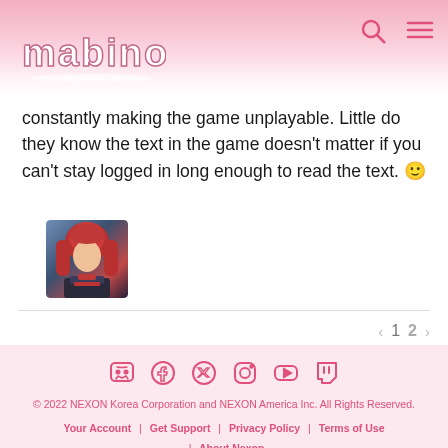Mabinogi
constantly making the game unplayable. Little do they know the text in the game doesn't matter if you can't stay logged in long enough to read the text. 🙂
[Figure (photo): Avatar/character portrait of a red-haired character in dark armor]
1 2 pagination | Social icons: Discord, Facebook, Twitter, Instagram, YouTube, Twitch | © 2022 NEXON Korea Corporation and NEXON America Inc. All Rights Reserved. | Your Account | Get Support | Privacy Policy | Terms of Use | About Nexon